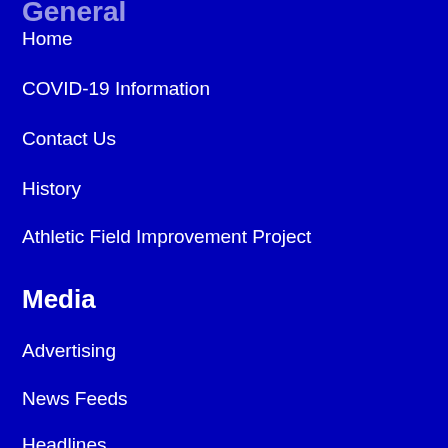Home
COVID-19 Information
Contact Us
History
Athletic Field Improvement Project
Media
Advertising
News Feeds
Headlines
Calendar
Boys Teams